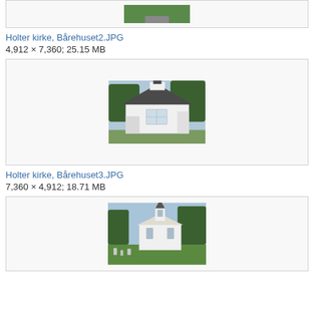[Figure (photo): Partial top crop of a path/road image, green trees/grass visible]
Holter kirke, Bårehuset2.JPG
4,912 × 7,360; 25.15 MB
[Figure (photo): A white octagonal mortuary chapel (bårehus) with a dark pyramidal roof and small cupola, surrounded by trees]
Holter kirke, Bårehuset3.JPG
7,360 × 4,912; 18.71 MB
[Figure (photo): A white Norwegian church with a pointed spire, surrounded by a graveyard and green trees]